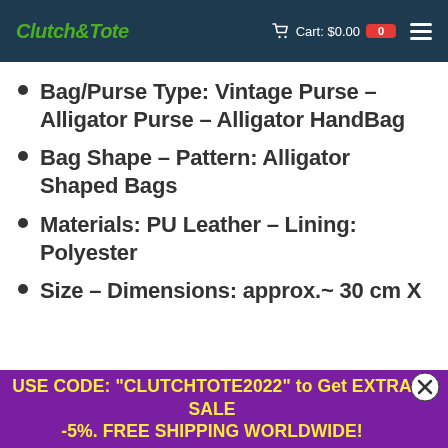Clutch & Tote — Cart: $0.00 [0]
Bag/Purse Type: Vintage Purse – Alligator Purse – Alligator HandBag
Bag Shape – Pattern: Alligator Shaped Bags
Materials: PU Leather – Lining: Polyester
Size – Dimensions: approx.~ 30 cm X
USE CODE: "CLUTCHTOTE2022" to Get EXTRA SALE -5%. FREE SHIPPING WORLDWIDE!